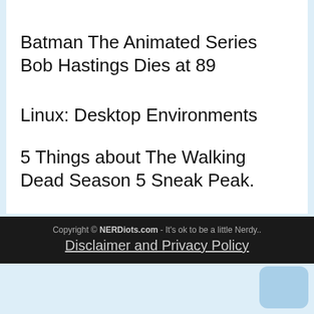Batman The Animated Series Bob Hastings Dies at 89
Linux: Desktop Environments
5 Things about The Walking Dead Season 5 Sneak Peak.
Copyright © NERDiots.com - It's ok to be a little Nerdy.. Disclaimer and Privacy Policy